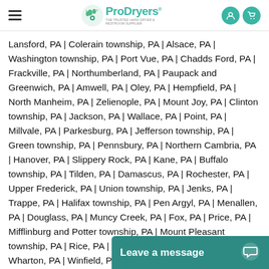ProDryers — THE TRUSTED HAND DRYER & RESTROOM SUPPLIER
Lansford, PA | Colerain township, PA | Alsace, PA | Washington township, PA | Port Vue, PA | Chadds Ford, PA | Frackville, PA | Northumberland, PA | Paupack and Greenwich, PA | Amwell, PA | Oley, PA | Hempfield, PA | North Manheim, PA | Zelienople, PA | Mount Joy, PA | Clinton township, PA | Jackson, PA | Wallace, PA | Point, PA | Millvale, PA | Parkesburg, PA | Jefferson township, PA | Green township, PA | Pennsbury, PA | Northern Cambria, PA | Hanover, PA | Slippery Rock, PA | Kane, PA | Buffalo township, PA | Tilden, PA | Damascus, PA | Rochester, PA | Upper Frederick, PA | Union township, PA | Jenks, PA | Trappe, PA | Halifax township, PA | Pen Argyl, PA | Menallen, PA | Douglass, PA | Muncy Creek, PA | Fox, PA | Price, PA | Mifflinburg and Potter township, PA | Mount Pleasant township, PA | Rice, PA | Fayette, PA | Portage township, PA | Wharton, PA | Winfield, PA | Sadsbury township, PA | Heidelbe... | Lehman, PA | Lower Chi... | Ohioville, PA | Hegins, P...